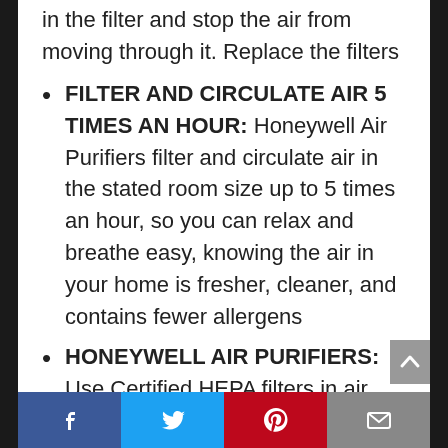contaminated can block the pores in the filter and stop the air from moving through it. Replace the filters
FILTER AND CIRCULATE AIR 5 TIMES AN HOUR: Honeywell Air Purifiers filter and circulate air in the stated room size up to 5 times an hour, so you can relax and breathe easy, knowing the air in your home is fresher, cleaner, and contains fewer allergens
HONEYWELL AIR PURIFIERS: Use Certified HEPA filters in air purifier to remove allergens, dust & other
Facebook | Twitter | Pinterest | Email